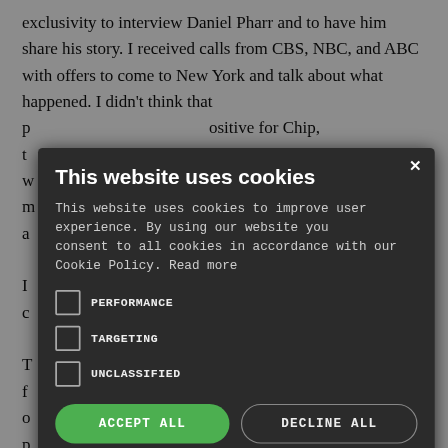exclusivity to interview Daniel Pharr and to have him share his story. I received calls from CBS, NBC, and ABC with offers to come to New York and talk about what happened. I didn't think that p... ositive for Chip, t... arrative and they w... comments to any m... media for longer, a...
[Figure (screenshot): Cookie consent modal dialog with dark background overlay. Title: 'This website uses cookies'. Body text explains cookie usage policy. Three unchecked checkboxes for PERFORMANCE, TARGETING, UNCLASSIFIED. Two buttons: ACCEPT ALL (green) and DECLINE ALL (outlined). Show Details link with gear icon. Powered by COOKIE-SCRIPT footer.]
...his commanding c... ations and f... hen serious injuries o... media is p... lo, then you can stay one step ahead of them and not be caught off guard. This is